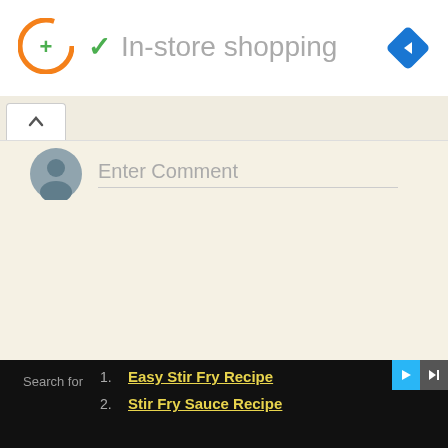[Figure (screenshot): App header with orange circle logo with green plus, green checkmark icon, and 'In-store shopping' text, blue diamond navigation icon top right, small blue play and X icons below left]
Enter Comment
1. Easy Stir Fry Recipe
2. Stir Fry Sauce Recipe
Search for